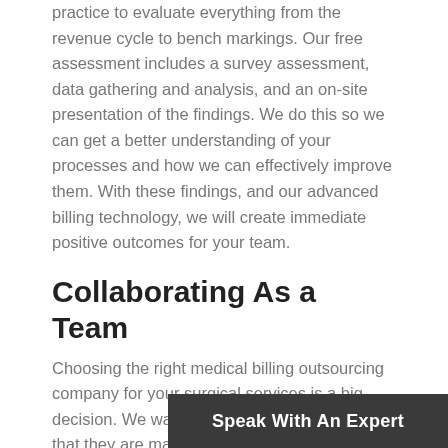practice to evaluate everything from the revenue cycle to bench markings. Our free assessment includes a survey assessment, data gathering and analysis, and an on-site presentation of the findings. We do this so we can get a better understanding of your processes and how we can effectively improve them. With these findings, and our advanced billing technology, we will create immediate positive outcomes for your team.
Collaborating As a Team
Choosing the right medical billing outsourcing company for your surgical services is a big decision. We want everyone to feel confident that they are making the right decision with ORI & Health PCP. Our team offers invaluable technology solutions and workflow tools as well as a very hands-on approach so that collaborating as a team has never been easier.
For more information about
[Figure (other): Dark grey call-to-action button with text 'Speak With An Expert']